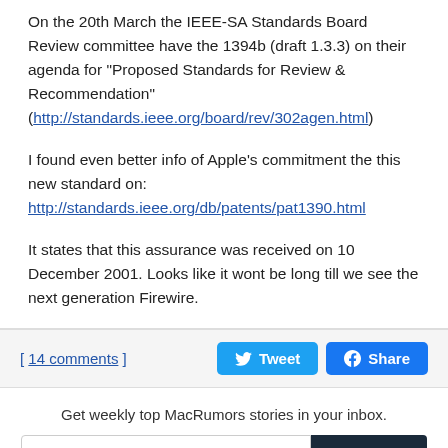On the 20th March the IEEE-SA Standards Board Review committee have the 1394b (draft 1.3.3) on their agenda for "Proposed Standards for Review & Recommendation" (http://standards.ieee.org/board/rev/302agen.html)
I found even better info of Apple's commitment the this new standard on: http://standards.ieee.org/db/patents/pat1390.html
It states that this assurance was received on 10 December 2001. Looks like it wont be long till we see the next generation Firewire.
[ 14 comments ]
Get weekly top MacRumors stories in your inbox.
Popular Stories